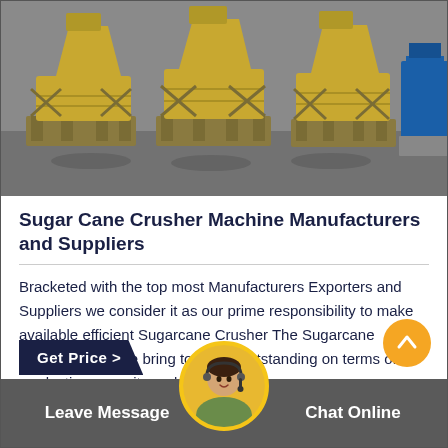[Figure (photo): Industrial yellow cone crusher machines (VSI crushers) lined up in a factory/warehouse setting, photographed in a slightly desaturated style with the machines in yellow/gold color against a grey background. A blue machine is visible on the far right.]
Sugar Cane Crusher Machine Manufacturers and Suppliers
Bracketed with the top most Manufacturers Exporters and Suppliers we consider it as our prime responsibility to make available efficient Sugarcane Crusher The Sugarcane Crusher which we bring to you is outstanding on terms of production capacity and longe...
Get Price >
Leave Message
Chat Online